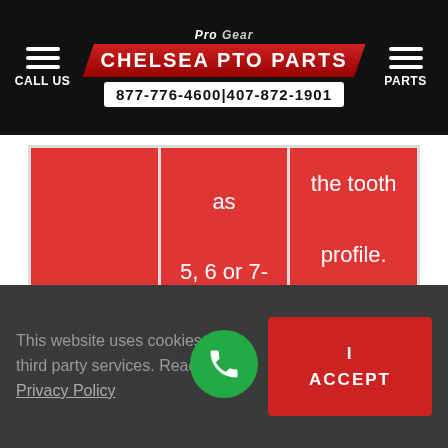CALL US | Pro Gear Chelsea PTO Parts | 877-776-4600 | 407-872-1901 | PARTS
classified as 5, 6 or 7-pitch
the tooth profile.
This website uses cookies and third party services. Read our Privacy Policy
I ACCEPT